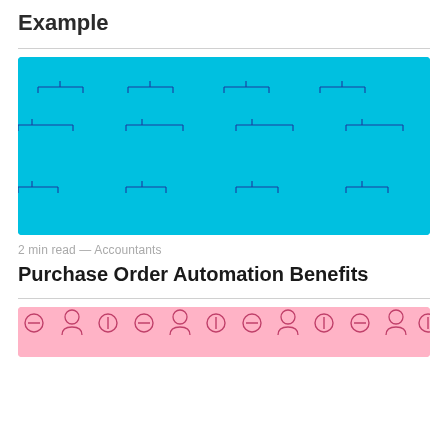Example
[Figure (illustration): Cyan/blue background with repeating organizational chart icons in dark blue outline style — person icons, minus-circle icons, and vertical bar icons arranged in hierarchical grid pattern]
2 min read — Accountants
Purchase Order Automation Benefits
[Figure (illustration): Pink/light red background with repeating organizational chart icons in darker pink outline style — same icon pattern as above image]